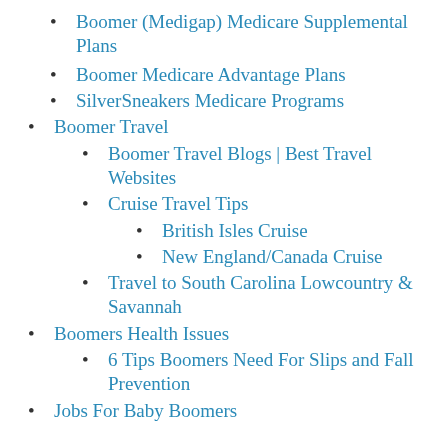Boomer (Medigap) Medicare Supplemental Plans
Boomer Medicare Advantage Plans
SilverSneakers Medicare Programs
Boomer Travel
Boomer Travel Blogs | Best Travel Websites
Cruise Travel Tips
British Isles Cruise
New England/Canada Cruise
Travel to South Carolina Lowcountry & Savannah
Boomers Health Issues
6 Tips Boomers Need For Slips and Fall Prevention
Jobs For Baby Boomers